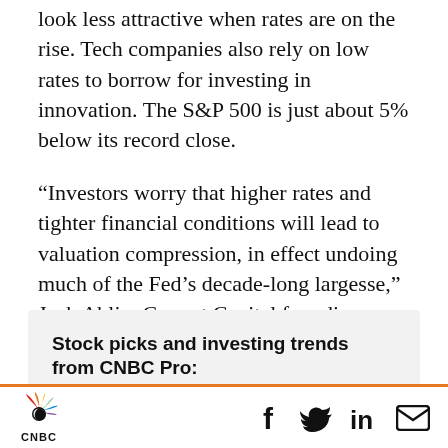look less attractive when rates are on the rise. Tech companies also rely on low rates to borrow for investing in innovation. The S&P 500 is just about 5% below its record close.
“Investors worry that higher rates and tighter financial conditions will lead to valuation compression, in effect undoing much of the Fed’s decade-long largesse,” Jack Ablin, Cresset Capital founding partner and CIO, told clients.
Stock picks and investing trends from CNBC Pro:
CNBC